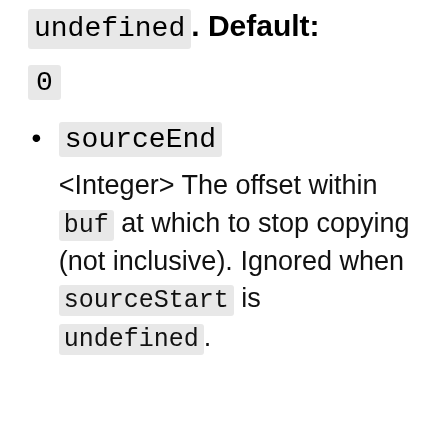undefined. Default:
0
sourceEnd
<Integer> The offset within buf at which to stop copying (not inclusive). Ignored when sourceStart is undefined.